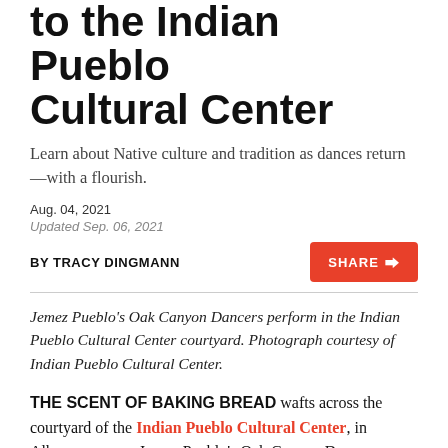to the Indian Pueblo Cultural Center
Learn about Native culture and tradition as dances return—with a flourish.
Aug. 04, 2021
Updated Sep. 06, 2021
BY TRACY DINGMANN
Jemez Pueblo's Oak Canyon Dancers perform in the Indian Pueblo Cultural Center courtyard. Photograph courtesy of Indian Pueblo Cultural Center.
THE SCENT OF BAKING BREAD wafts across the courtyard of the Indian Pueblo Cultural Center, in Albuquerque, as Jemez Pueblo's Oak Canyon Dancers prepare to entertain an audience assembled under a latilla-covered porch on a Sunday afternoon. The mostly teenage dancers enter joyfully, wearing ceremonial attire, playing drums and singing, and practicing in some cases